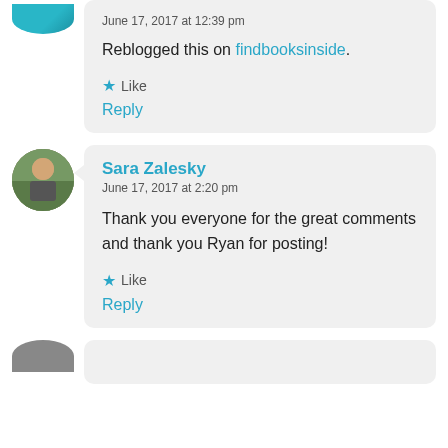June 17, 2017 at 12:39 pm
Reblogged this on findbooksinside.
Like
Reply
Sara Zalesky
June 17, 2017 at 2:20 pm
Thank you everyone for the great comments and thank you Ryan for posting!
Like
Reply